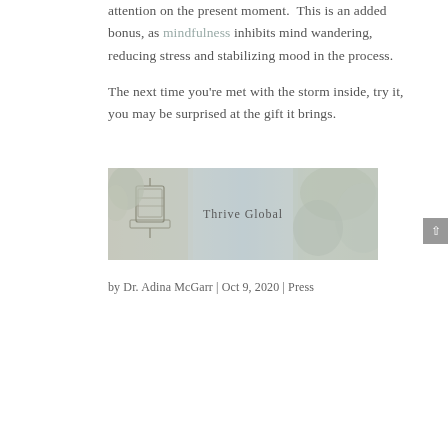attention on the present moment.  This is an added bonus, as mindfulness inhibits mind wandering, reducing stress and stabilizing mood in the process.
The next time you're met with the storm inside, try it, you may be surprised at the gift it brings.
[Figure (illustration): A decorative image for Thrive Global featuring botanical and architectural sketch elements with muted watercolor tones. Center text reads 'Thrive Global'.]
by Dr. Adina McGarr | Oct 9, 2020 | Press